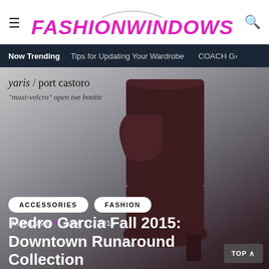FashionWindows
Now Trending   Tips for Updating Your Wardrobe   COACH G
[Figure (photo): Dark brown suede open toe bootie (yaris / port castoro maxi-velcro open toe bootie) against a grey gradient background, overlaid with article metadata and title.]
yaris / port castoro
"maxi-velcro" open toe bootie
ACCESSORIES   FASHION
Mari Davis  •  June 17, 2015
Pedro Garcia Fall 2015: Downtown Runaround Collection